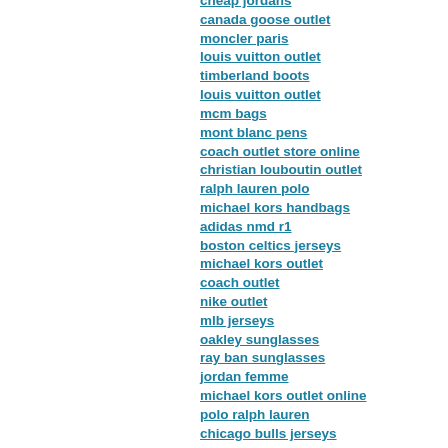cheap jordans
canada goose outlet
moncler paris
louis vuitton outlet
timberland boots
louis vuitton outlet
mcm bags
mont blanc pens
coach outlet store online
christian louboutin outlet
ralph lauren polo
michael kors handbags
adidas nmd r1
boston celtics jerseys
michael kors outlet
coach outlet
nike outlet
mlb jerseys
oakley sunglasses
ray ban sunglasses
jordan femme
michael kors outlet online
polo ralph lauren
chicago bulls jerseys
nike outlet store